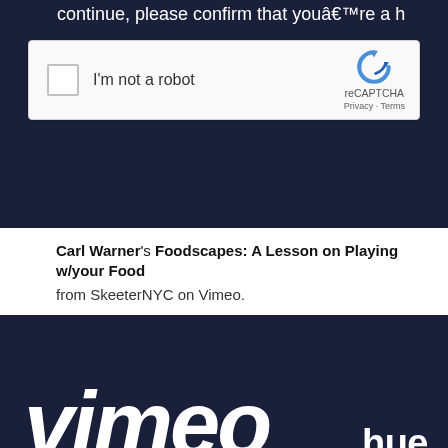continue, please confirm that youâ€™re a h
[Figure (screenshot): reCAPTCHA widget with checkbox and 'I'm not a robot' label, with reCAPTCHA logo, Privacy and Terms links]
Carl Warner's Foodscapes: A Lesson on Playing w/your Food from SkeeterNYC on Vimeo.
[Figure (screenshot): Vimeo video player screenshot showing the Vimeo logo on a dark navy background with overlay text 'continue']